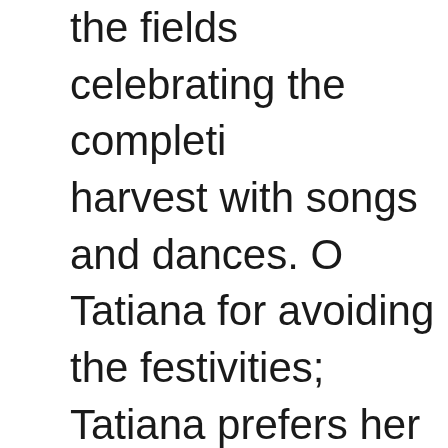the fields celebrating the completion of harvest with songs and dances. Olga scolds Tatiana for avoiding the festivities; Tatiana prefers her romance novels. As the peasants leave, Olga's suitor, the poet Lenski, arrives with his worldly friend Eugene Onegin. Lenski pours out his love for Olga ("I love vas"). Onegin strolls with Tatiana and wonders how she doesn't get bored with country life. Unnerved by the handsome stranger,